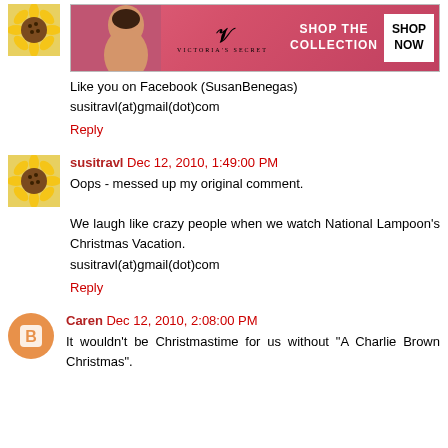[Figure (screenshot): Victoria's Secret advertisement banner with model, VS logo, 'SHOP THE COLLECTION' text, and 'SHOP NOW' button on pink background]
Like you on Facebook (SusanBenegas)
susitravl(at)gmail(dot)com
Reply
susitravl  Dec 12, 2010, 1:49:00 PM
Oops - messed up my original comment.

We laugh like crazy people when we watch National Lampoon's Christmas Vacation.
susitravl(at)gmail(dot)com
Reply
Caren  Dec 12, 2010, 2:08:00 PM
It wouldn't be Christmastime for us without "A Charlie Brown Christmas".